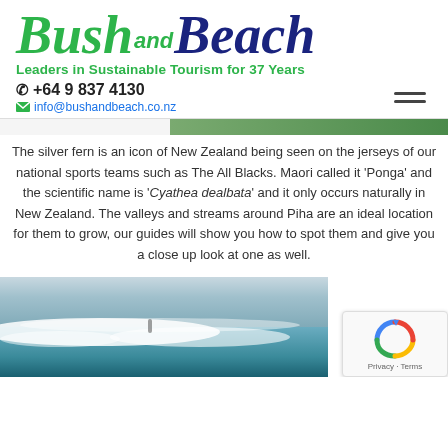[Figure (logo): Bush and Beach logo: 'Bush' in large green italic script, 'and' in smaller green text, 'Beach' in large dark blue italic script]
Leaders in Sustainable Tourism for 37 Years
☎ +64 9 837 4130
✉ info@bushandbeach.co.nz
The silver fern is an icon of New Zealand being seen on the jerseys of our national sports teams such as The All Blacks. Maori called it 'Ponga' and the scientific name is 'Cyathea dealbata' and it only occurs naturally in New Zealand. The valleys and streams around Piha are an ideal location for them to grow, our guides will show you how to spot them and give you a close up look at one as well.
[Figure (photo): Ocean waves photo at Piha beach, New Zealand, with surfer partially visible]
[Figure (other): Google reCAPTCHA badge with Privacy and Terms links]